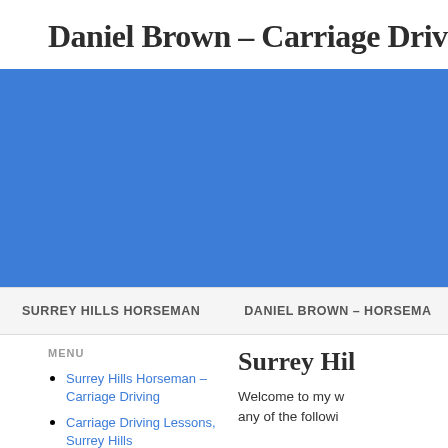Daniel Brown – Carriage Driving
[Figure (illustration): Large blue banner/header image area for the website]
SURREY HILLS HORSEMAN   DANIEL BROWN – HORSEMAN
MENU
Surrey Hills Horseman – Carriage Driving
Carriage Driving Lessons, Surrey Hills
Horse Training Surrey Hills
Horse and Cart Drives
Surrey Hil
Welcome to my w any of the followi